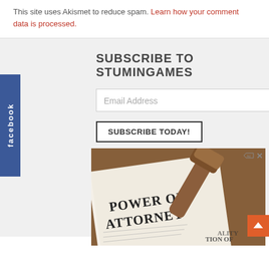This site uses Akismet to reduce spam. Learn how your comment data is processed.
SUBSCRIBE TO STUMINGAMES
Email Address
SUBSCRIBE TODAY!
[Figure (photo): A 'Power of Attorney' legal document with a wooden gavel resting on top, photographed from above on a wooden surface. Advertisement image.]